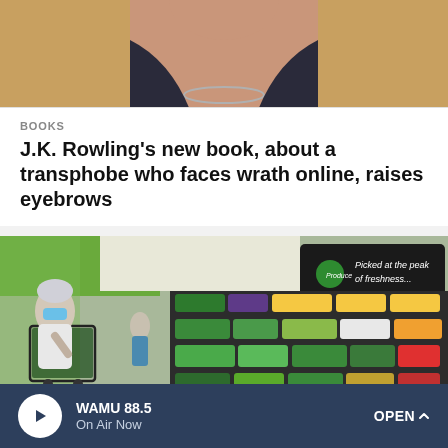[Figure (photo): Close-up photo of a person's neck/chest area, partially cropped, appearing to be a portrait photo used as a news article thumbnail]
BOOKS
J.K. Rowling's new book, about a transphobe who faces wrath online, raises eyebrows
[Figure (photo): Grocery store produce section showing shelves of fresh vegetables and fruits. An elderly woman wearing a face mask pushes a shopping cart. A sign reads 'Picked at the peak of freshness...' with a Produce logo.]
WAMU 88.5
On Air Now
OPEN ^